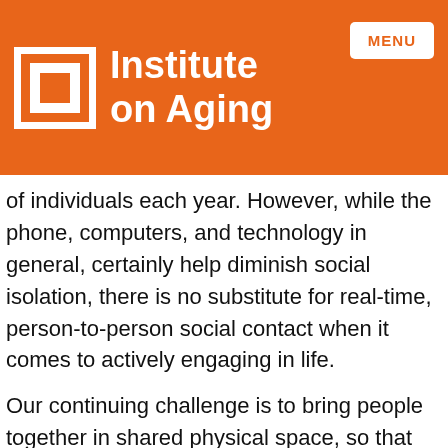Institute on Aging
of individuals each year. However, while the phone, computers, and technology in general, certainly help diminish social isolation, there is no substitute for real-time, person-to-person social contact when it comes to actively engaging in life.
Our continuing challenge is to bring people together in shared physical space, so that spontaneous learning, laughter, and educational opportunities abound throughout life.
At Home with Moral Dev...